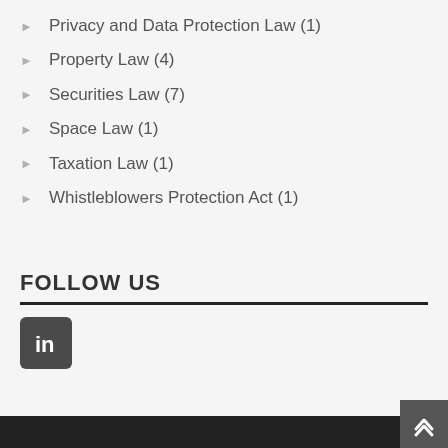Privacy and Data Protection Law (1)
Property Law (4)
Securities Law (7)
Space Law (1)
Taxation Law (1)
Whistleblowers Protection Act (1)
FOLLOW US
[Figure (logo): LinkedIn logo icon — white 'in' on dark grey rounded square background]